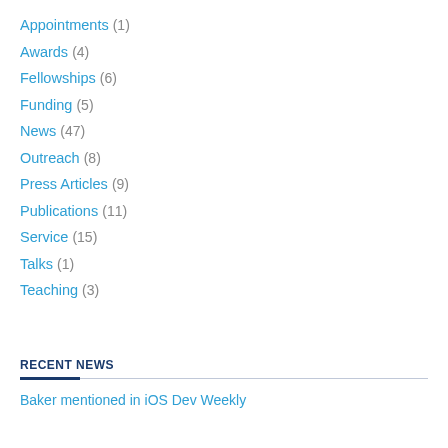Appointments (1)
Awards (4)
Fellowships (6)
Funding (5)
News (47)
Outreach (8)
Press Articles (9)
Publications (11)
Service (15)
Talks (1)
Teaching (3)
RECENT NEWS
Baker mentioned in iOS Dev Weekly